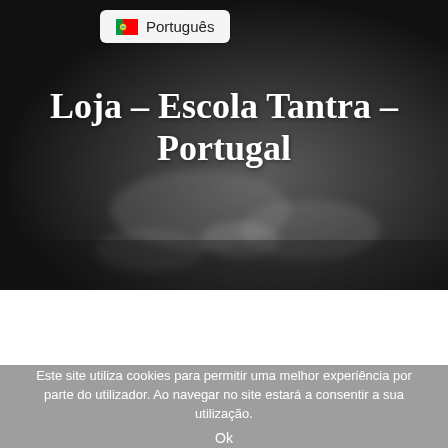[Figure (photo): Dark greyscale background hero image showing blurred hands, used as website header backdrop]
🇵🇹 Português
Loja – Escola Tantra – Portugal
Este site utiliza cookies para permitir uma melhor experiência por parte do utilizador. Ao navegar no site estará a consentir a sua utilização.
Ok